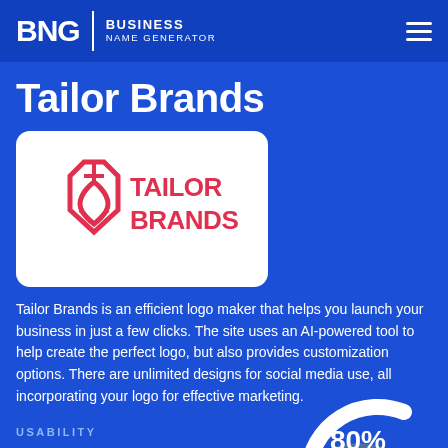BNG | BUSINESS NAME GENERATOR
Tailor Brands
[Figure (logo): Tailor Brands logo: red geometric diamond/heart shield icon on left, red text TAILOR BRANDS on right, on white card background]
Tailor Brands is an efficient logo maker that helps you launch your business in just a few clicks. The site uses an AI-powered tool to help create the perfect logo, but also provides customization options. There are unlimited designs for social media use, all incorporating your logo for effective marketing.
USABILITY
[Figure (donut-chart): Partial donut chart showing 80% usability score]